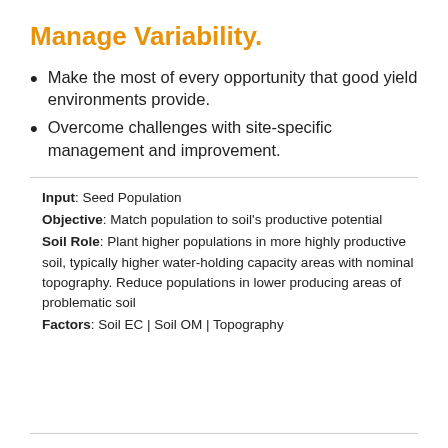Manage Variability.
Make the most of every opportunity that good yield environments provide.
Overcome challenges with site-specific management and improvement.
Input: Seed Population
Objective: Match population to soil's productive potential
Soil Role: Plant higher populations in more highly productive soil, typically higher water-holding capacity areas with nominal topography. Reduce populations in lower producing areas of problematic soil
Factors: Soil EC | Soil OM | Topography